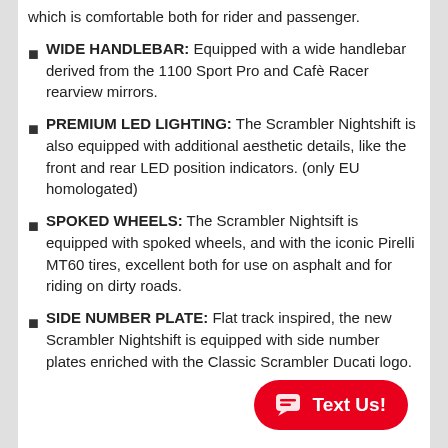which is comfortable both for rider and passenger.
WIDE HANDLEBAR: Equipped with a wide handlebar derived from the 1100 Sport Pro and Cafè Racer rearview mirrors.
PREMIUM LED LIGHTING: The Scrambler Nightshift is also equipped with additional aesthetic details, like the front and rear LED position indicators. (only EU homologated)
SPOKED WHEELS: The Scrambler Nightsift is equipped with spoked wheels, and with the iconic Pirelli MT60 tires, excellent both for use on asphalt and for riding on dirty roads.
SIDE NUMBER PLATE: Flat track inspired, the new Scrambler Nightshift is equipped with side number plates enriched with the Classic Scrambler Ducati logo.